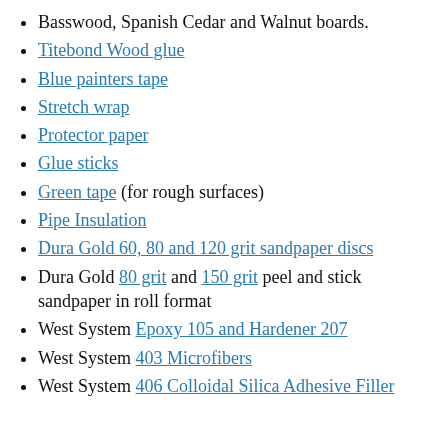Basswood, Spanish Cedar and Walnut boards.
Titebond Wood glue
Blue painters tape
Stretch wrap
Protector paper
Glue sticks
Green tape (for rough surfaces)
Pipe Insulation
Dura Gold 60, 80 and 120 grit sandpaper discs
Dura Gold 80 grit and 150 grit peel and stick sandpaper in roll format
West System Epoxy 105 and Hardener 207
West System 403 Microfibers
West System 406 Colloidal Silica Adhesive Filler